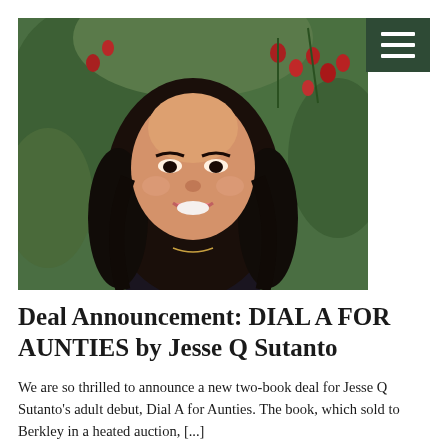[Figure (photo): Portrait photo of Jesse Q Sutanto, a young Asian woman with long dark hair, smiling, wearing a dark top, with green foliage and red berries in the background.]
Deal Announcement: DIAL A FOR AUNTIES by Jesse Q Sutanto
We are so thrilled to announce a new two-book deal for Jesse Q Sutanto's adult debut, Dial A for Aunties. The book, which sold to Berkley in a heated auction, [...]